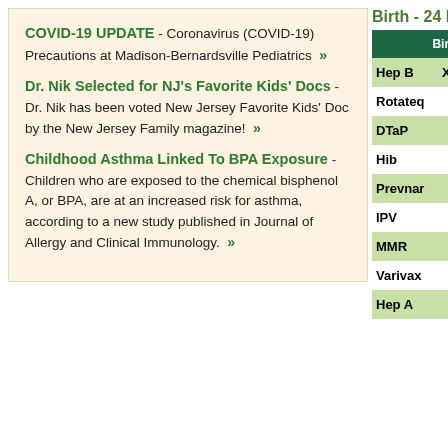COVID-19 UPDATE - Coronavirus (COVID-19) Precautions at Madison-Bernardsville Pediatrics »
Dr. Nik Selected for NJ's Favorite Kids' Docs - Dr. Nik has been voted New Jersey Favorite Kids' Doc by the New Jersey Family magazine! »
Childhood Asthma Linked To BPA Exposure - Children who are exposed to the chemical bisphenol A, or BPA, are at an increased risk for asthma, according to a new study published in Journal of Allergy and Clinical Immunology. »
Birth - 24 Mon
|  | Birth |
| --- | --- |
| Hep B | X |
| Rotateq |  |
| DTaP |  |
| Hib |  |
| Prevnar |  |
| IPV |  |
| MMR |  |
| Varivax |  |
| Hep A |  |